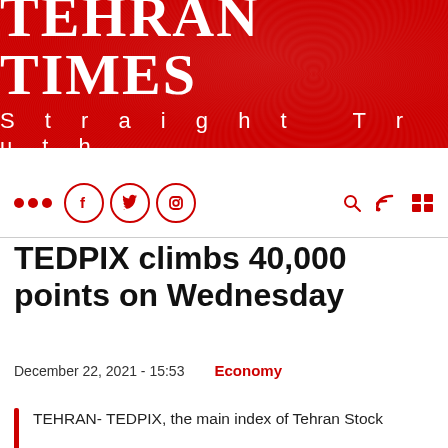TEHRAN TIMES
Straight Truth
[Figure (logo): Tehran Times newspaper logo with red banner background, white text 'TEHRAN TIMES' in large serif font and 'Straight Truth' in spaced sans-serif below]
TEDPIX climbs 40,000 points on Wednesday
December 22, 2021 - 15:53    Economy
TEHRAN- TEDPIX, the main index of Tehran Stock